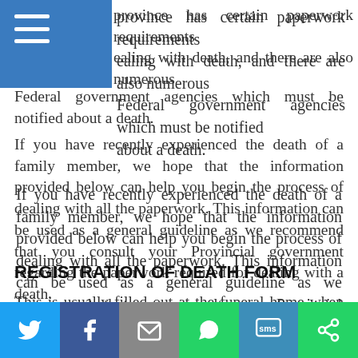province has certain paperwork requirements dealing with death, and there are also numerous Federal government agencies which must be notified about a death.
If you have recently experienced the death of a family member, we hope that the information provided below can help you begin the process of dealing with all the paperwork. This information can be used as a general guideline as we recommend that you consult your Provincial government regarding the paperwork required for dealing with a death.
REGISTRATION OF DEATH FORM
This is usually filled out at the funeral home when the funeral home arrangements are being made. It is
Twitter | Facebook | Email | WhatsApp | SMS | ShareThis